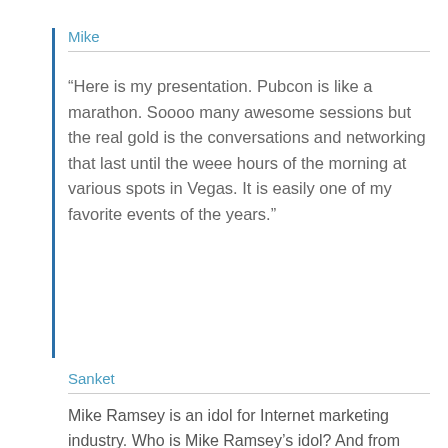Mike
“Here is my presentation. Pubcon is like a marathon. Soooo many awesome sessions but the real gold is the conversations and networking that last until the weee hours of the morning at various spots in Vegas. It is easily one of my favorite events of the years.”
Sanket
Mike Ramsey is an idol for Internet marketing industry. Who is Mike Ramsey’s idol? And from